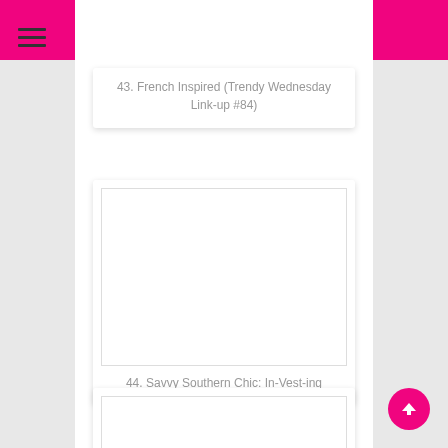43. French Inspired (Trendy Wednesday Link-up #84)
[Figure (photo): Blank/white image placeholder for list item 44]
44. Savvy Southern Chic: In-Vest-ing
[Figure (photo): Blank/white image placeholder for list item 45 (partial)]